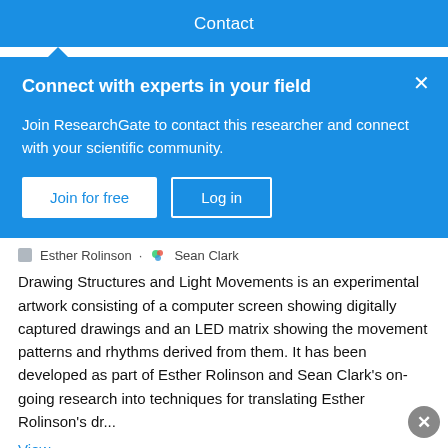Contact
Connect with experts in your field
Join ResearchGate to contact this researcher and connect with your scientific community.
Join for free | Log in
Esther Rolinson · Sean Clark
Drawing Structures and Light Movements is an experimental artwork consisting of a computer screen showing digitally captured drawings and an LED matrix showing the movement patterns and rhythms derived from them. It has been developed as part of Esther Rolinson and Sean Clark's on- going research into techniques for translating Esther Rolinson's dr...
View
Advertisement
Sterling OPEN 6AM–12AM 45131 Columbia Place, Sterling